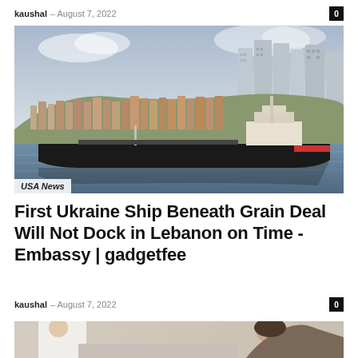kaushal – August 7, 2022
[Figure (photo): A large cargo ship sailing in a harbor with a dense city skyline and high-rise buildings in the background. USA News label in lower left.]
USA News
First Ukraine Ship Beneath Grain Deal Will Not Dock in Lebanon on Time -Embassy | gadgetfee
kaushal – August 7, 2022
[Figure (photo): Partial view of a medical/hospital scene with a person in a white coat and another person leaning over.]